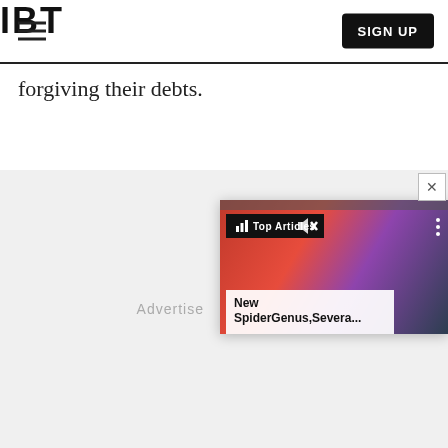IBT
forgiving their debts.
[Figure (screenshot): Advertisement area with a popup overlay showing an IBT Top Articles widget featuring an image resembling a David Bowie Ziggy Stardust figure, with text 'New SpiderGenus,Severa...' and a close button (X).]